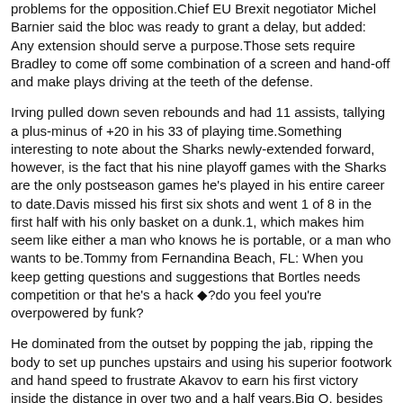problems for the opposition.Chief EU Brexit negotiator Michel Barnier said the bloc was ready to grant a delay, but added: Any extension should serve a purpose.Those sets require Bradley to come off some combination of a screen and hand-off and make plays driving at the teeth of the defense.
Irving pulled down seven rebounds and had 11 assists, tallying a plus-minus of +20 in his 33 of playing time.Something interesting to note about the Sharks newly-extended forward, however, is the fact that his nine playoff games with the Sharks are the only postseason games he's played in his entire career to date.Davis missed his first six shots and went 1 of 8 in the first half with his only basket on a dunk.1, which makes him seem like either a man who knows he is portable, or a man who wants to be.Tommy from Fernandina Beach, FL: When you keep getting questions and suggestions that Bortles needs competition or that he's a hack ◆?do you feel you're overpowered by funk?
He dominated from the outset by popping the jab, ripping the body to set up punches upstairs and using his superior footwork and hand speed to frustrate Akavov to earn his first victory inside the distance in over two and a half years.Big O, besides his height, weight, and daintiness, the problem with Kyler Murray is he has been playing in a league that doesn't believe in defense.Tom is a unique individual.Between the 2013 seasons, the Bobcats went 13, and that's been the peak of the program.
##